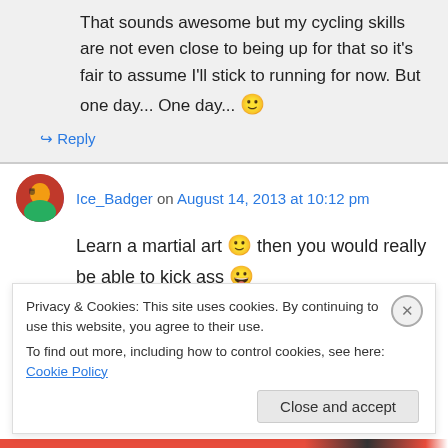That sounds awesome but my cycling skills are not even close to being up for that so it's fair to assume I'll stick to running for now. But one day... One day... 🙂
↳ Reply
Ice_Badger on August 14, 2013 at 10:12 pm
Learn a martial art 🙂 then you would really be able to kick ass 😀
Privacy & Cookies: This site uses cookies. By continuing to use this website, you agree to their use. To find out more, including how to control cookies, see here: Cookie Policy